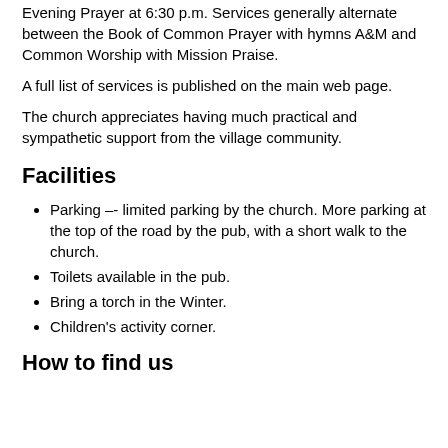Evening Prayer at 6:30 p.m. Services generally alternate between the Book of Common Prayer with hymns A&M and Common Worship with Mission Praise.
A full list of services is published on the main web page.
The church appreciates having much practical and sympathetic support from the village community.
Facilities
Parking –- limited parking by the church. More parking at the top of the road by the pub, with a short walk to the church.
Toilets available in the pub.
Bring a torch in the Winter.
Children's activity corner.
How to find us